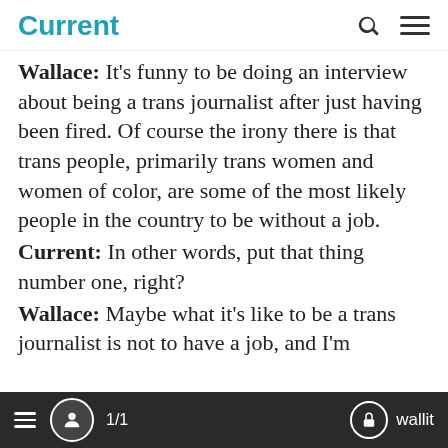Current
Wallace: It's funny to be doing an interview about being a trans journalist after just having been fired. Of course the irony there is that trans people, primarily trans women and women of color, are some of the most likely people in the country to be without a job.
Current: In other words, put that thing number one, right?
Wallace: Maybe what it's like to be a trans journalist is not to have a job, and I'm
≡  👤  1/1  🔒 wallit